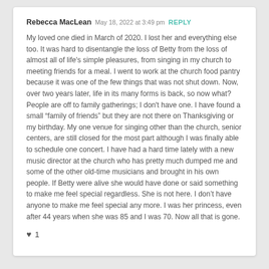Rebecca MacLean  May 18, 2022 at 3:49 pm  REPLY
My loved one died in March of 2020. I lost her and everything else too. It was hard to disentangle the loss of Betty from the loss of almost all of life's simple pleasures, from singing in my church to meeting friends for a meal. I went to work at the church food pantry because it was one of the few things that was not shut down. Now, over two years later, life in its many forms is back, so now what? People are off to family gatherings; I don't have one. I have found a small “family of friends” but they are not there on Thanksgiving or my birthday. My one venue for singing other than the church, senior centers, are still closed for the most part although I was finally able to schedule one concert. I have had a hard time lately with a new music director at the church who has pretty much dumped me and some of the other old-time musicians and brought in his own people. If Betty were alive she would have done or said something to make me feel special regardless. She is not here. I don’t have anyone to make me feel special any more. I was her princess, even after 44 years when she was 85 and I was 70. Now all that is gone.
♥ 1